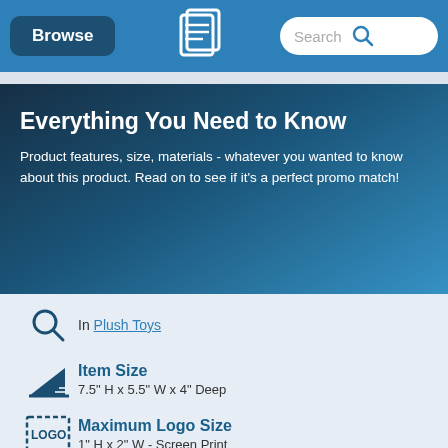Browse | [logo] | Search
Everything You Need to Know
Product features, size, materials - whatever you wanted to know about this product. Read on to see if it's a perfect promo match!
In Plush Toys
Item Size
7.5" H x 5.5" W x 4" Deep
Maximum Logo Size
1" H x 2" W - Screen Print
Vector Artwork + Proofs